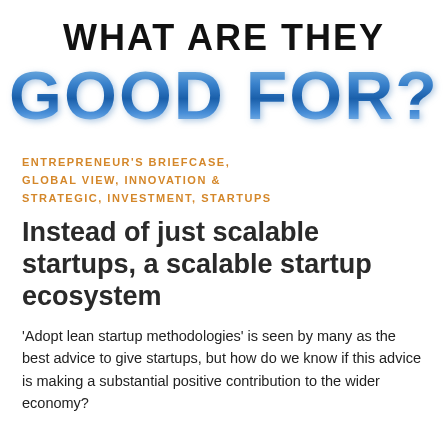WHAT ARE THEY
GOOD FOR?
ENTREPRENEUR'S BRIEFCASE, GLOBAL VIEW, INNOVATION & STRATEGIC, INVESTMENT, STARTUPS
Instead of just scalable startups, a scalable startup ecosystem
'Adopt lean startup methodologies' is seen by many as the best advice to give startups, but how do we know if this advice is making a substantial positive contribution to the wider economy?